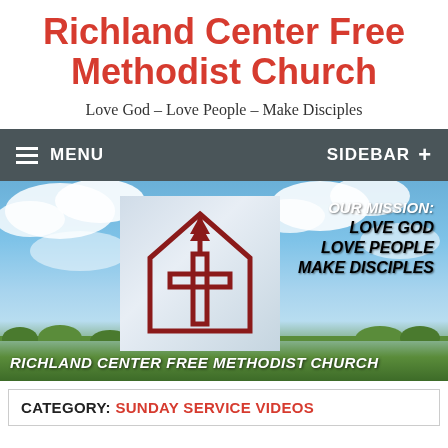Richland Center Free Methodist Church
Love God – Love People – Make Disciples
MENU  SIDEBAR +
[Figure (photo): Church banner image with sky, clouds, church logo with cross, mission statement text: OUR MISSION: LOVE GOD LOVE PEOPLE MAKE DISCIPLES, and text RICHLAND CENTER FREE METHODIST CHURCH at bottom]
CATEGORY: SUNDAY SERVICE VIDEOS